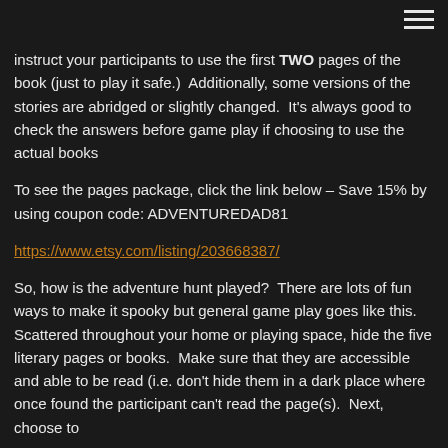instruct your participants to use the first TWO pages of the book (just to play it safe.)  Additionally, some versions of the stories are abridged or slightly changed.  It's always good to check the answers before game play if choosing to use the actual books
To see the pages package, click the link below – Save 15% by using coupon code: ADVENTUREDAD81
https://www.etsy.com/listing/203668387/
So, how is the adventure hunt played?  There are lots of fun ways to make it spooky but general game play goes like this.  Scattered throughout your home or playing space, hide the five literary pages or books.  Make sure that they are accessible and able to be read (i.e. don't hide them in a dark place where once found the participant can't read the page(s).  Next, choose to